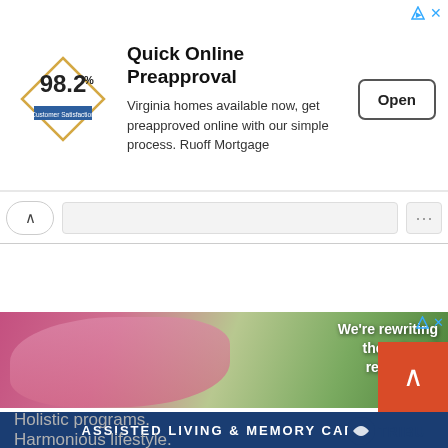[Figure (screenshot): Advertisement banner for Ruoff Mortgage Quick Online Preapproval. Shows 98.2% Customer Satisfaction diamond logo, title text, description, and an Open button. Ad badge with triangle and X icons in top right.]
[Figure (screenshot): Browser navigation bar with up-chevron back button, search/address bar, and menu dots button.]
[Figure (screenshot): Advertisement for assisted living: photo of elderly woman painting with text 'We're rewriting the rules of retirement.' Dark blue bar reading 'ASSISTED LIVING & MEMORY CARE'. Orange scroll-to-top button. Below shows partial text 'Holistic programs. Harmonious lifestyle.' and partial Tribute logo.]